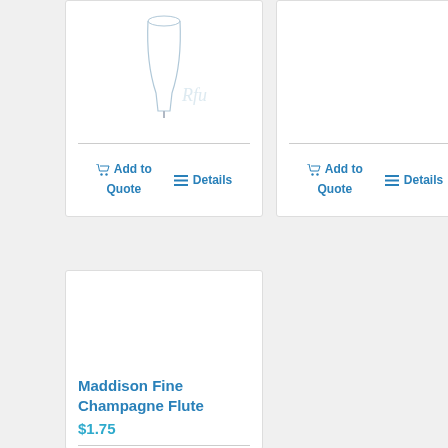[Figure (other): Top-left product card (cropped), showing Add to Quote and Details buttons]
[Figure (other): Top-right product card (cropped), showing Add to Quote and Details buttons]
[Figure (photo): Champagne flute product card for Maddison Fine Champagne Flute priced at $1.75, with Add to Quote and Details buttons]
Maddison Fine Champagne Flute
$1.75